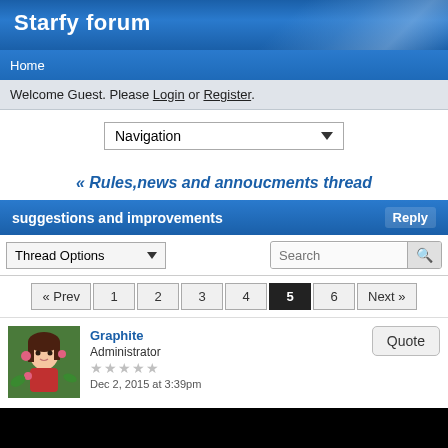Starfy forum
Home
Welcome Guest. Please Login or Register.
Navigation
« Rules,news and annoucments thread
suggestions and improvements  Reply
Thread Options  Search
« Prev  1  2  3  4  5  6  Next »
Graphite
Administrator
★★★★★
Dec 2, 2015 at 3:39pm
Quote